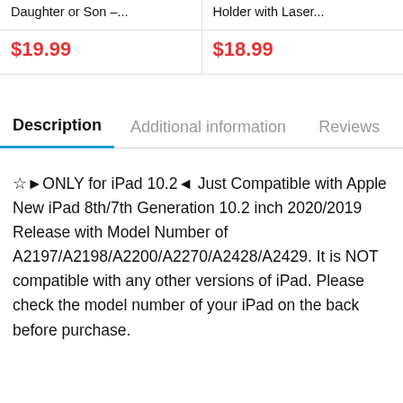| Daughter or Son –... | Holder with Laser... |
| $19.99 | $18.99 |
Description	Additional information	Reviews
☆►ONLY for iPad 10.2◄ Just Compatible with Apple New iPad 8th/7th Generation 10.2 inch 2020/2019 Release with Model Number of A2197/A2198/A2200/A2270/A2428/A2429. It is NOT compatible with any other versions of iPad. Please check the model number of your iPad on the back before purchase.